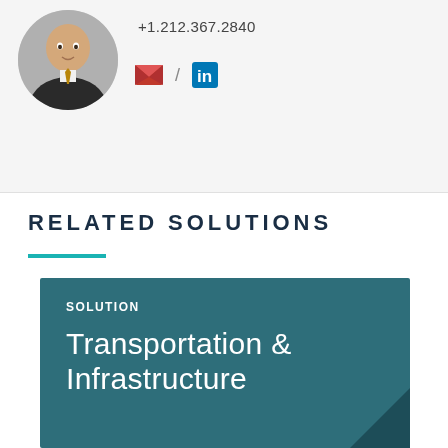[Figure (photo): Headshot photo of a man in a suit, circular crop]
+1.212.367.2840
[Figure (infographic): Email icon (red envelope) slash LinkedIn icon (blue in square)]
RELATED SOLUTIONS
[Figure (infographic): Teal card labeled SOLUTION with title Transportation & Infrastructure]